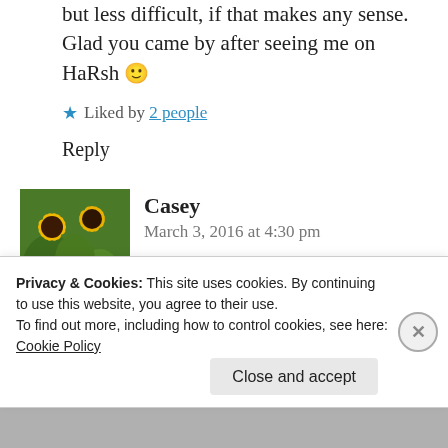but less difficult, if that makes any sense.
Glad you came by after seeing me on HaRsh 🙂
★ Liked by 2 people
Reply
[Figure (photo): Avatar photo of Casey showing yellow sunflowers against a green background]
Casey
March 3, 2016 at 4:30 pm
Completely true; you're so right.
Privacy & Cookies: This site uses cookies. By continuing to use this website, you agree to their use.
To find out more, including how to control cookies, see here: Cookie Policy
Close and accept